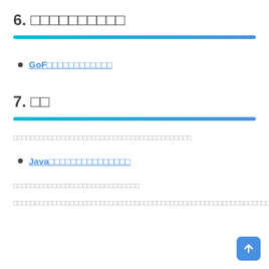6. □□□□□□□□□□
GoF□□□□□□□□□□□□
7. □□
□□□□□□□□□□□□□□□□□□□□□□□□□□□□□□□□□□□□□□□□
Java□□□□□□□□□□□□□□□
□□□□□□□□□□□□□□□□□□□□□□□□□□□□
□□□□□□□□□□□□□□□□□□□□□□□□□□□□□□□□□□□□□□□□□□□□□□□□□□□□□□□□□□□□□